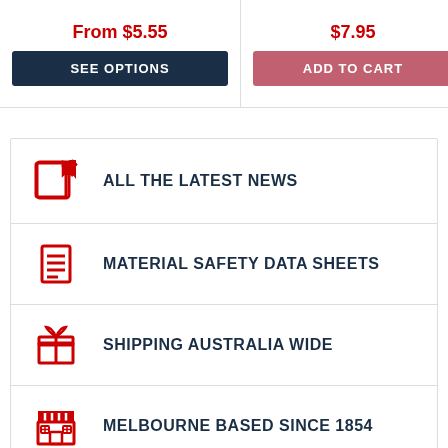From $5.55
SEE OPTIONS
$7.95
ADD TO CART
ALL THE LATEST NEWS
MATERIAL SAFETY DATA SHEETS
SHIPPING AUSTRALIA WIDE
MELBOURNE BASED SINCE 1854